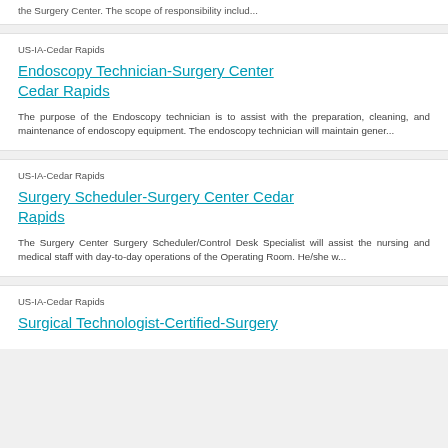the Surgery Center. The scope of responsibility includ...
US-IA-Cedar Rapids
Endoscopy Technician-Surgery Center Cedar Rapids
The purpose of the Endoscopy technician is to assist with the preparation, cleaning, and maintenance of endoscopy equipment. The endoscopy technician will maintain gener...
US-IA-Cedar Rapids
Surgery Scheduler-Surgery Center Cedar Rapids
The Surgery Center Surgery Scheduler/Control Desk Specialist will assist the nursing and medical staff with day-to-day operations of the Operating Room. He/she w...
US-IA-Cedar Rapids
Surgical Technologist-Certified-Surgery